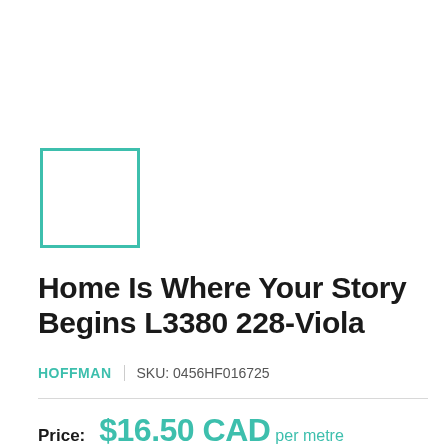[Figure (illustration): Teal/green outlined square swatch box placeholder]
Home Is Where Your Story Begins L3380 228-Viola
HOFFMAN  |  SKU: 0456HF016725
Price:  $16.50 CAD per metre